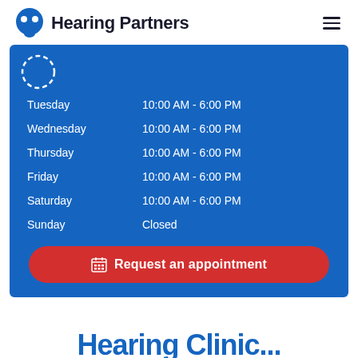Hearing Partners
| Day | Hours |
| --- | --- |
| Tuesday | 10:00 AM - 6:00 PM |
| Wednesday | 10:00 AM - 6:00 PM |
| Thursday | 10:00 AM - 6:00 PM |
| Friday | 10:00 AM - 6:00 PM |
| Saturday | 10:00 AM - 6:00 PM |
| Sunday | Closed |
Request an appointment
Hearing Clinic...